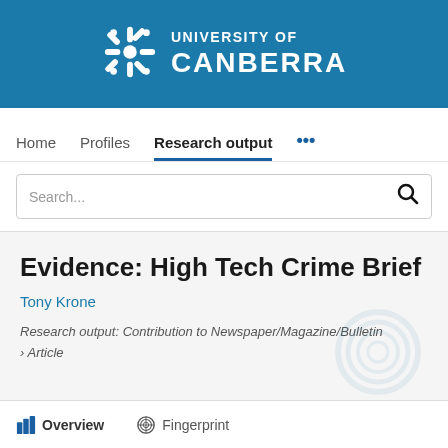[Figure (logo): University of Canberra logo with snowflake-style icon and white text on blue background]
Home   Profiles   Research output   ...
Search...
Evidence: High Tech Crime Brief
Tony Krone
Research output: Contribution to Newspaper/Magazine/Bulletin › Article
Overview   Fingerprint